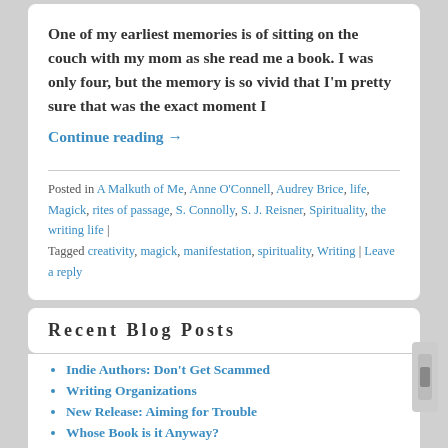One of my earliest memories is of sitting on the couch with my mom as she read me a book. I was only four, but the memory is so vivid that I'm pretty sure that was the exact moment I
Continue reading →
Posted in A Malkuth of Me, Anne O'Connell, Audrey Brice, life, Magick, rites of passage, S. Connolly, S. J. Reisner, Spirituality, the writing life | Tagged creativity, magick, manifestation, spirituality, Writing | Leave a reply
Recent Blog Posts
Indie Authors: Don't Get Scammed
Writing Organizations
New Release: Aiming for Trouble
Whose Book is it Anyway?
A Writer's Priority is Writing – Not Managing ALL the Social Media.